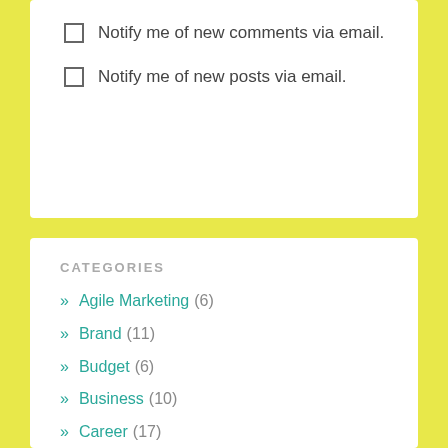Notify me of new comments via email.
Notify me of new posts via email.
CATEGORIES
» Agile Marketing (6)
» Brand (11)
» Budget (6)
» Business (10)
» Career (17)
» Collateral (5)
» Competitive Intelligence (2)
» Content Marketing (6)
» Digital & Website (8)